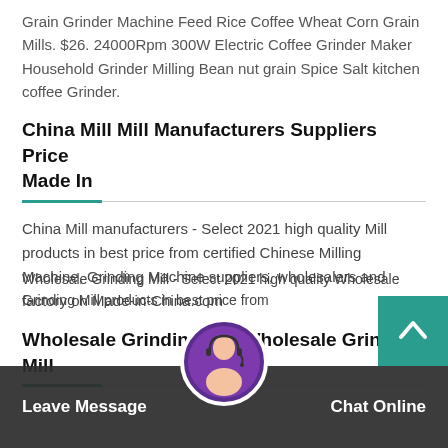Grain Grinder Machine Feed Rice Coffee Wheat Corn Grain Mills. $26. 24000Rpm 300W Electric Coffee Grinder Maker Household Grinder Milling Bean nut grain Spice Salt kitchen coffee Grinder.
China Mill Mill Manufacturers Suppliers Price Made In
China Mill manufacturers - Select 2021 high quality Mill products in best price from certified Chinese Milling Machine, Grinding Machine suppliers, wholesalers and factory on Made-in-China.com
Wholesale Grinding Mill Wholesale Grinding Mill
Wholesale Grinding Mill - Select 2021 high quality Wholesale Grinding Mill products in best price from
Leave Message
Chat Online